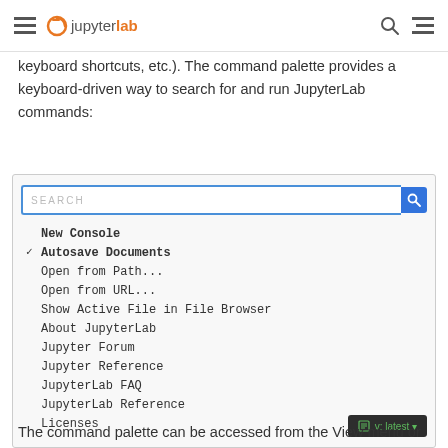JupyterLab
keyboard shortcuts, etc.). The command palette provides a keyboard-driven way to search for and run JupyterLab commands:
[Figure (screenshot): JupyterLab command palette UI showing a search box and list of commands: New Console, Autosave Documents (checked), Open from Path..., Open from URL..., Show Active File in File Browser, About JupyterLab, Jupyter Forum, Jupyter Reference, JupyterLab FAQ, JupyterLab Reference, Licenses. A dark version badge showing 'v: latest' is visible in the bottom right.]
The command palette can be accessed from the View menu or